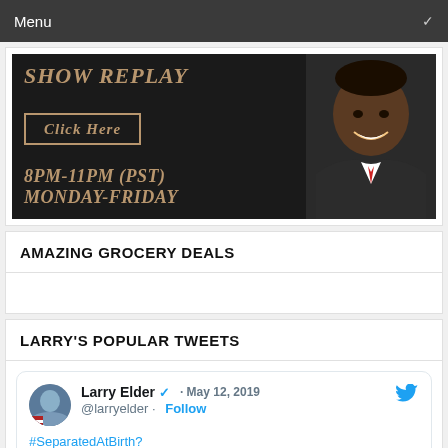Menu
[Figure (photo): Show replay banner with text 'SHOW REPLAY', 'Click Here' button, '8PM-11PM (PST)', 'Monday-Friday' and a photo of Larry Elder smiling in a dark suit with red tie]
AMAZING GROCERY DEALS
LARRY'S POPULAR TWEETS
Larry Elder @larryelder · Follow · May 12, 2019 · #SeparatedAtBirth?